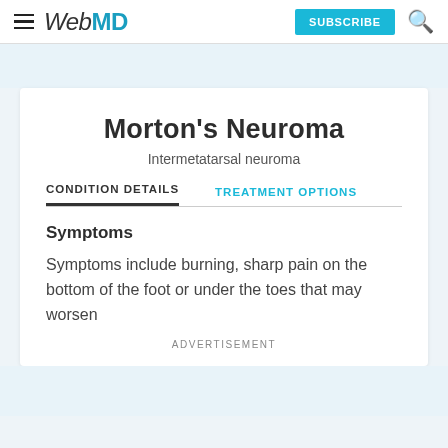WebMD — SUBSCRIBE
Morton's Neuroma
Intermetatarsal neuroma
CONDITION DETAILS   TREATMENT OPTIONS
Symptoms
Symptoms include burning, sharp pain on the bottom of the foot or under the toes that may worsen
ADVERTISEMENT